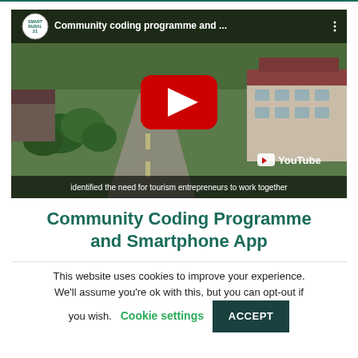[Figure (screenshot): YouTube video thumbnail showing aerial view of a rural village with buildings, trees, and a road. Title bar reads 'Community coding programme and ...' with Smart Rural 21 logo. Red YouTube play button centered. Subtitle: 'identified the need for tourism entrepreneurs to work together']
Community Coding Programme and Smartphone App
This website uses cookies to improve your experience. We'll assume you're ok with this, but you can opt-out if you wish. Cookie settings  ACCEPT